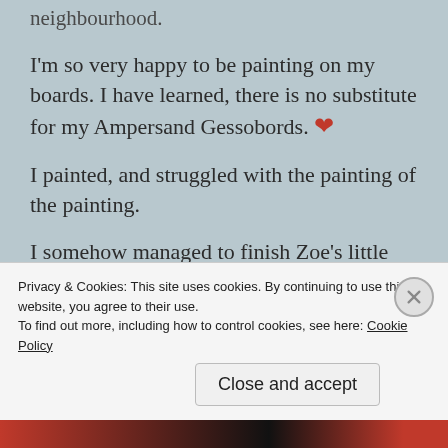neighbourhood.
I'm so very happy to be painting on my boards. I have learned, there is no substitute for my Ampersand Gessobords. ❤
I painted, and struggled with the painting of the painting.
I somehow managed to finish Zoe's little haircut.
And I discovered that the birdhouse I precariously placed on our deck – where I walk, and where Zoe runs by daily was surprisingly hosting baby birds
Privacy & Cookies: This site uses cookies. By continuing to use this website, you agree to their use.
To find out more, including how to control cookies, see here: Cookie Policy
Close and accept